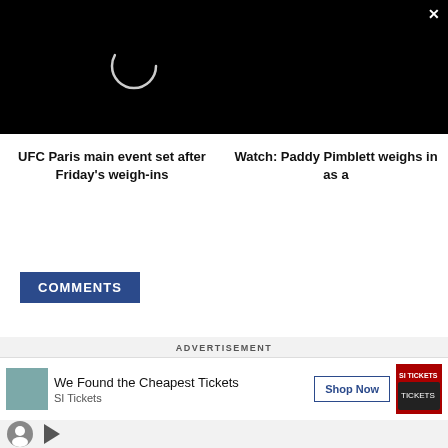[Figure (screenshot): Black video player area with a circular loading spinner in the upper left quadrant, and a white X close button in the top right corner]
UFC Paris main event set after Friday's weigh-ins
Watch: Paddy Pimblett weighs in as a
COMMENTS
ADVERTISEMENT
We Found the Cheapest Tickets
SI Tickets